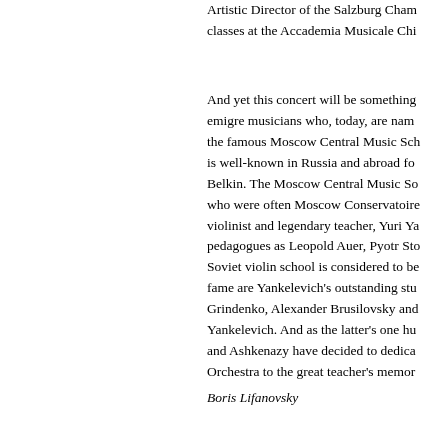Artistic Director of the Salzburg Cham classes at the Accademia Musicale Chi
And yet this concert will be something emigre musicians who, today, are nam the famous Moscow Central Music Sch is well-known in Russia and abroad fo Belkin. The Moscow Central Music So who were often Moscow Conservatoire violinist and legendary teacher, Yuri Ya pedagogues as Leopold Auer, Pyotr Sto Soviet violin school is considered to be fame are Yankelevich's outstanding stu Grindenko, Alexander Brusilovsky ano Yankelevich. And as the latter's one hu and Ashkenazy have decided to dedica Orchestra to the great teacher's memor
Boris Lifanovsky